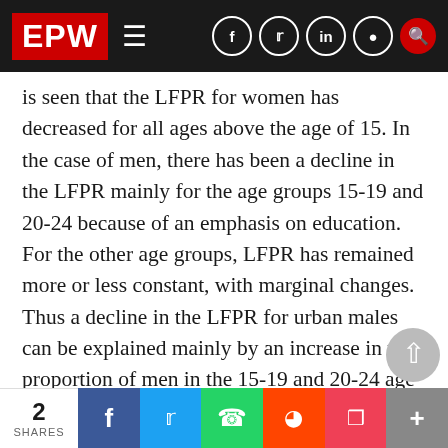EPW
is seen that the LFPR for women has decreased for all ages above the age of 15. In the case of men, there has been a decline in the LFPR mainly for the age groups 15-19 and 20-24 because of an emphasis on education. For the other age groups, LFPR has remained more or less constant, with marginal changes. Thus a decline in the LFPR for urban males can be explained mainly by an increase in the proportion of men in the 15-19 and 20-24 age groups undergoing education. This cannot be said for women, where the LFPR for every age group has declined. This is shown in Table 2.